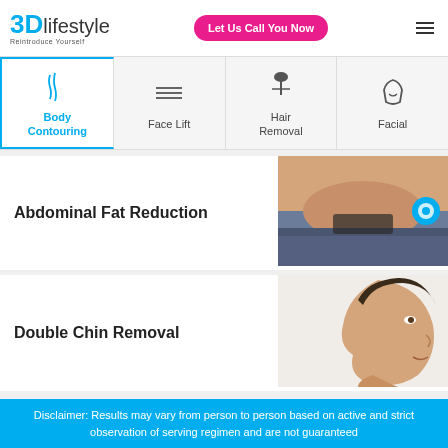3Dlifestyle - Reintroduce Yourself | Let Us Call You Now
[Figure (screenshot): Navigation tabs: Body Contouring (active, blue), Face Lift, Hair Removal, Facial]
Abdominal Fat Reduction
[Figure (photo): Person pinching abdominal fat]
Double Chin Removal
[Figure (photo): Side profile of a man's face showing double chin area]
Disclaimer: Results may vary from person to person based on active and strict observation of serving regimen and are not guaranteed